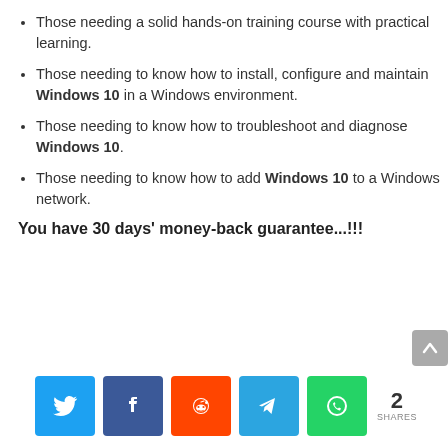Those needing a solid hands-on training course with practical learning.
Those needing to know how to install, configure and maintain Windows 10 in a Windows environment.
Those needing to know how to troubleshoot and diagnose Windows 10.
Those needing to know how to add Windows 10 to a Windows network.
You have 30 days' money-back guarantee...!!!
[Figure (infographic): Social share buttons: Twitter, Facebook, Reddit, Telegram, WhatsApp, and a share count of 2]